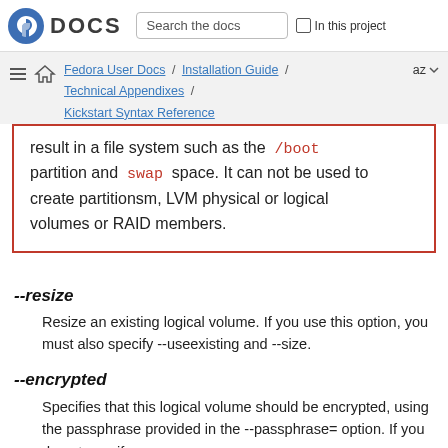Fedora DOCS — Search the docs — In this project
Fedora User Docs / Installation Guide / Technical Appendixes / Kickstart Syntax Reference — az
result in a file system such as the /boot partition and swap space. It can not be used to create partitionsm, LVM physical or logical volumes or RAID members.
--resize
Resize an existing logical volume. If you use this option, you must also specify --useexisting and --size.
--encrypted
Specifies that this logical volume should be encrypted, using the passphrase provided in the --passphrase= option. If you do not specify a